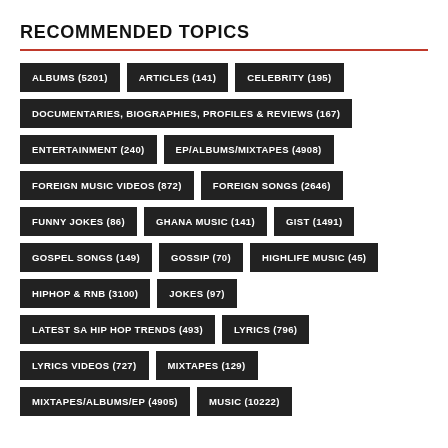RECOMMENDED TOPICS
ALBUMS (5201)
ARTICLES (141)
CELEBRITY (195)
DOCUMENTARIES, BIOGRAPHIES, PROFILES & REVIEWS (167)
ENTERTAINMENT (240)
EP/ALBUMS/MIXTAPES (4908)
FOREIGN MUSIC VIDEOS (872)
FOREIGN SONGS (2646)
FUNNY JOKES (86)
GHANA MUSIC (141)
GIST (1491)
GOSPEL SONGS (149)
GOSSIP (70)
HIGHLIFE MUSIC (45)
HIPHOP & RNB (3100)
JOKES (97)
LATEST SA HIP HOP TRENDS (493)
LYRICS (796)
LYRICS VIDEOS (727)
MIXTAPES (129)
MIXTAPES/ALBUMS/EP (4905)
MUSIC (10222)